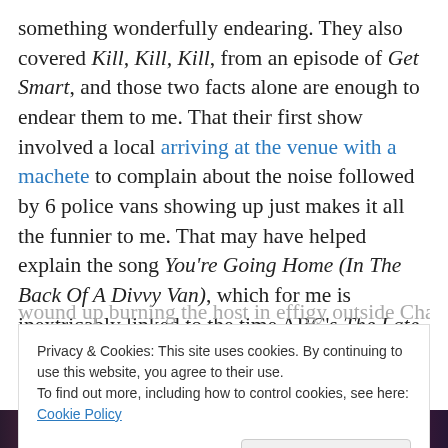something wonderfully endearing. They also covered Kill, Kill, Kill, from an episode of Get Smart, and those two facts alone are enough to endear them to me. That their first show involved a local arriving at the venue with a machete to complain about the noise followed by 6 police vans showing up just makes it all the funnier to me. That may have helped explain the song You're Going Home (In The Back Of A Divvy Van), which for me is inextricably linked to the time ABC's The Late Show staged a protest about a Sale of the Century hostess being sacked and wound up burning the host in effigy outside Channel 9
Privacy & Cookies: This site uses cookies. By continuing to use this website, you agree to their use.
To find out more, including how to control cookies, see here: Cookie Policy
[Figure (photo): A dark photo strip showing faces/people, partially visible at the bottom of the page]